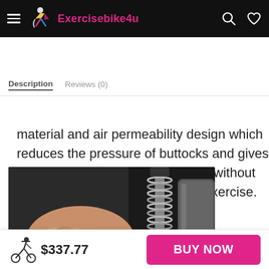Exercisebike4u
Description  Reviews (0)
material and air permeability design which reduces the pressure of buttocks and gives you a delightful riding experience without any discomfort during long time exercise.
[Figure (photo): Close-up photo of a hand gripping an exercise bike component, with a metallic spring mechanism visible on the right, against a dark background.]
$337.77  BUY NOW